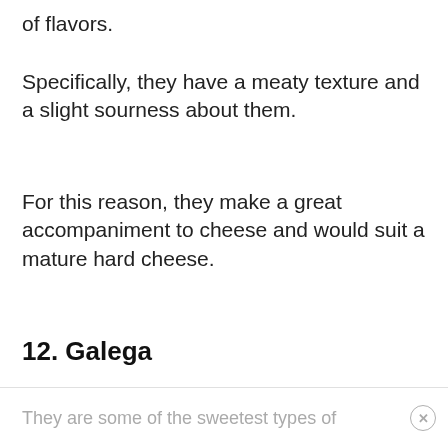of flavors.
Specifically, they have a meaty texture and a slight sourness about them.
For this reason, they make a great accompaniment to cheese and would suit a mature hard cheese.
12. Galega
Galega is the most popular Portuguese olive variety.
They are some of the sweetest types of